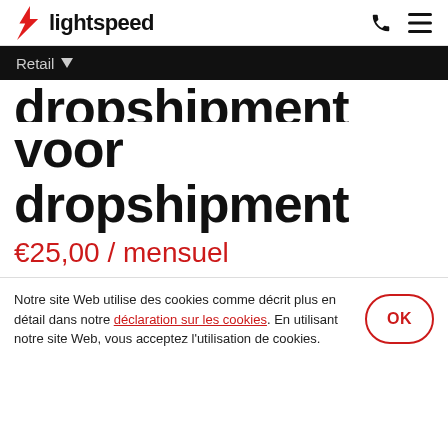lightspeed
Retail
voor dropshipment
€25,00 / mensuel
Notre site Web utilise des cookies comme décrit plus en détail dans notre déclaration sur les cookies. En utilisant notre site Web, vous acceptez l'utilisation de cookies.